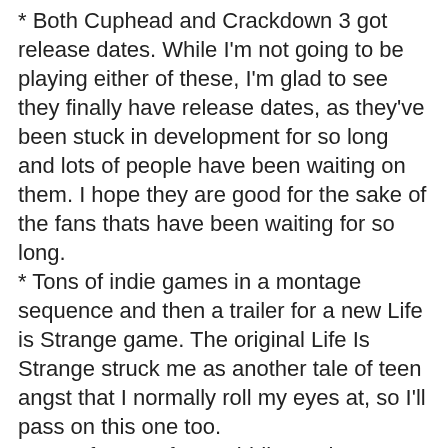* Both Cuphead and Crackdown 3 got release dates. While I'm not going to be playing either of these, I'm glad to see they finally have release dates, as they've been stuck in development for so long and lots of people have been waiting on them. I hope they are good for the sake of the fans thats have been waiting for so long.
* Tons of indie games in a montage sequence and then a trailer for a new Life is Strange game. The original Life Is Strange struck me as another tale of teen angst that I normally roll my eyes at, so I'll pass on this one too.
* More footage from Middle-earth: Shadow of War. The previous Middle-earth game, Shadow of Mordor, holds the unfortunate distinction of being one of the very few games that I liked but for some reason never finished. Shadow of War looks really good and I'm seriously considering playing it, but maybe I need to go back and finish Shadow of Mordor? Not sure.
* Ori and the Will of Wisps was revealed. Love the art style, but not all that interested in the game itself.
* Original Xbox games are being added to the Xbox